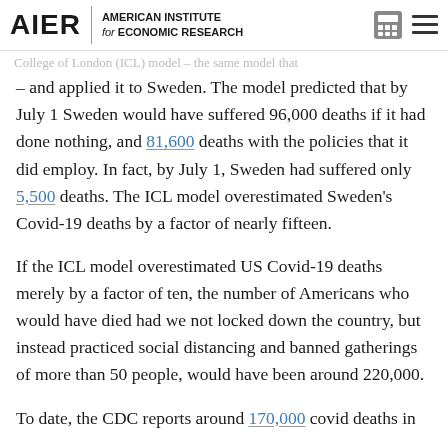AIER | AMERICAN INSTITUTE for ECONOMIC RESEARCH
College of London (ICL) model – the same model that... the United States – and applied it to Sweden. The model predicted that by July 1 Sweden would have suffered 96,000 deaths if it had done nothing, and 81,600 deaths with the policies that it did employ. In fact, by July 1, Sweden had suffered only 5,500 deaths. The ICL model overestimated Sweden's Covid-19 deaths by a factor of nearly fifteen.
If the ICL model overestimated US Covid-19 deaths merely by a factor of ten, the number of Americans who would have died had we not locked down the country, but instead practiced social distancing and banned gatherings of more than 50 people, would have been around 220,000.
To date, the CDC reports around 170,000 covid deaths in